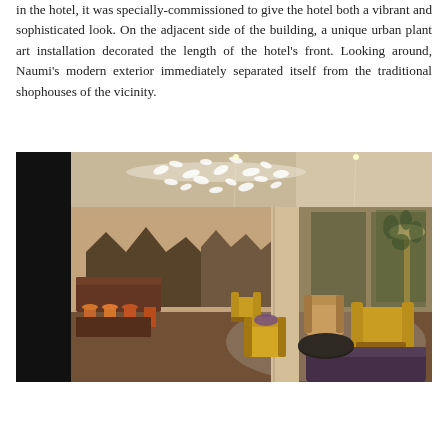in the hotel, it was specially-commissioned to give the hotel both a vibrant and sophisticated look. On the adjacent side of the building, a unique urban plant art installation decorated the length of the hotel's front. Looking around, Naumi's modern exterior immediately separated itself from the traditional shophouses of the vicinity.
[Figure (photo): Interior photo of Naumi Hotel showing a modern restaurant/lounge area with warm lighting, a dramatic white sculptural chandelier on the ceiling, dark wood dining tables with bar stools in orange/red tones on the left, and a lounge seating area with yellow, purple, and tan chairs on the right. The background features decorative dark mountain-silhouette wall panels and mirrors.]